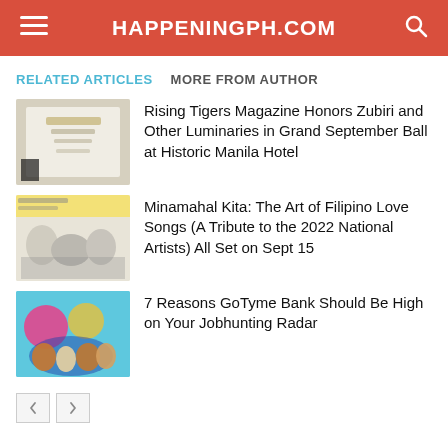HAPPENINGPH.COM
RELATED ARTICLES   MORE FROM AUTHOR
[Figure (photo): Thumbnail image of an invitation card with gold lettering on a white background]
Rising Tigers Magazine Honors Zubiri and Other Luminaries in Grand September Ball at Historic Manila Hotel
[Figure (photo): Thumbnail image of Minamahal Kita event poster with group of people]
Minamahal Kita: The Art of Filipino Love Songs (A Tribute to the 2022 National Artists) All Set on Sept 15
[Figure (photo): Thumbnail image of GoTyme Bank group photo with colorful background]
7 Reasons GoTyme Bank Should Be High on Your Jobhunting Radar